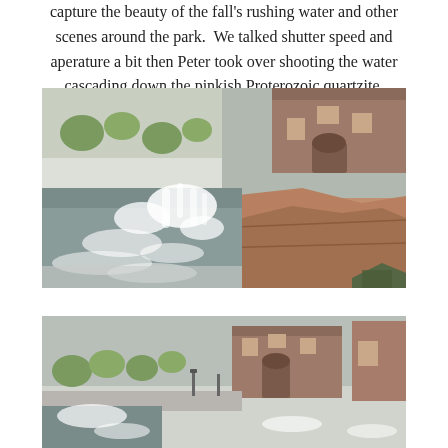capture the beauty of the fall's rushing water and other scenes around the park.  We talked shutter speed and aperature a bit then Peter took over shooting the water cascading down the pinkish Proterozoic quartzite.
[Figure (photo): A waterfall cascading over pinkish quartzite rocks, with rushing white water, a historic brick building in the upper right, snow-dusted trees and parkland in the upper left, overcast sky.]
[Figure (photo): Partial view of the same park scene from a wider angle, showing the historic building, trees, and waterfall area from farther back, with snow on the ground.]